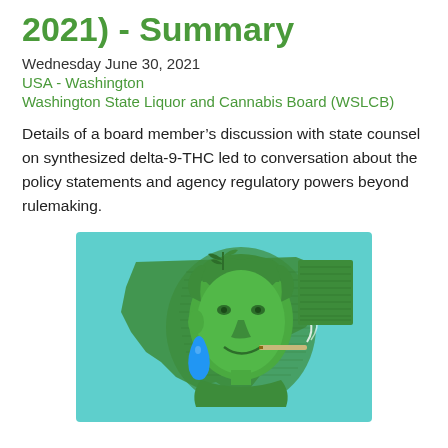2021) - Summary
Wednesday June 30, 2021
USA - Washington
Washington State Liquor and Cannabis Board (WSLCB)
Details of a board member’s discussion with state counsel on synthesized delta-9-THC led to conversation about the policy statements and agency regulatory powers beyond rulemaking.
[Figure (illustration): Illustration showing George Washington’s face from a dollar bill overlaid on the shape of Washington State, with a cannabis joint in his mouth, smoke rising, and a blue water droplet, on a teal background.]